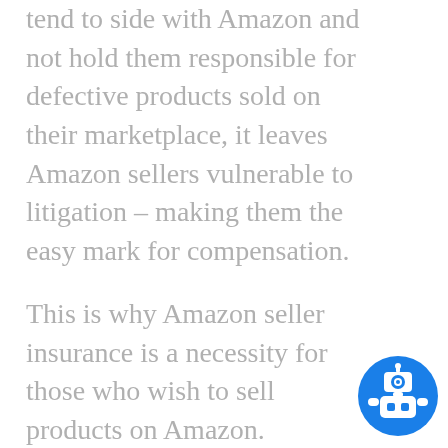tend to side with Amazon and not hold them responsible for defective products sold on their marketplace, it leaves Amazon sellers vulnerable to litigation – making them the easy mark for compensation.
This is why Amazon seller insurance is a necessity for those who wish to sell products on Amazon.
[Figure (illustration): Blue circular robot/chatbot icon with white robot figure in center]